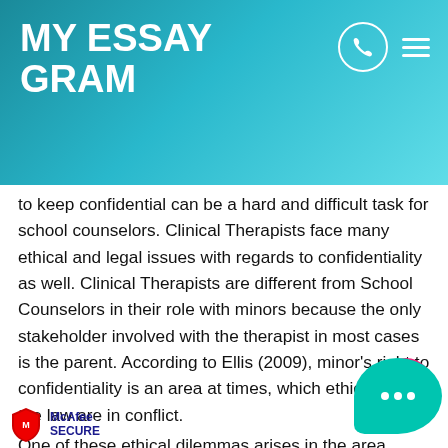MY ESSAY GRAM
to keep confidential can be a hard and difficult task for school counselors. Clinical Therapists face many ethical and legal issues with regards to confidentiality as well. Clinical Therapists are different from School Counselors in their role with minors because the only stakeholder involved with the therapist in most cases is the parent. According to Ellis (2009), minor's right to confidentiality is an area at times, which ethics and the law are in conflict. One of these ethical dilemmas arises in the area client privilege. In the case of minors, this privilege extends to the parents who act as representatives to their dependent children. Clinical Therapist struggle with maintaining confidentiality for their minor clients especially when law le of the parents because they have the rig ofbers (2009) that i